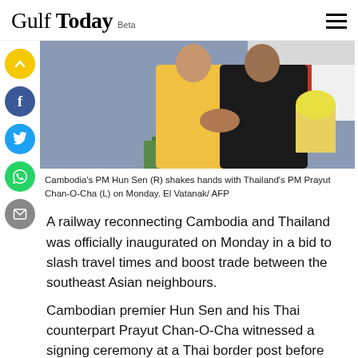Gulf Today Beta
[Figure (photo): Cambodia's PM Hun Sen (R) in black shirt shaking hands with Thailand's PM Prayut Chan-O-Cha (L) in yellow shirt, with flags in background]
Cambodia's PM Hun Sen (R) shakes hands with Thailand's PM Prayut Chan-O-Cha (L) on Monday. El Vatanak/ AFP
A railway reconnecting Cambodia and Thailand was officially inaugurated on Monday in a bid to slash travel times and boost trade between the southeast Asian neighbours.
Cambodian premier Hun Sen and his Thai counterpart Prayut Chan-O-Cha witnessed a signing ceremony at a Thai border post before riding together to the Cambodian town of